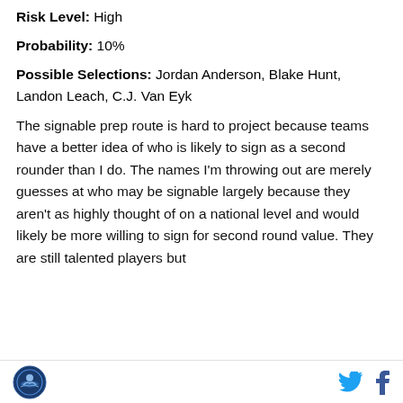Risk Level: High
Probability: 10%
Possible Selections: Jordan Anderson, Blake Hunt, Landon Leach, C.J. Van Eyk
The signable prep route is hard to project because teams have a better idea of who is likely to sign as a second rounder than I do. The names I’m throwing out are merely guesses at who may be signable largely because they aren’t as highly thought of on a national level and would likely be more willing to sign for second round value. They are still talented players but